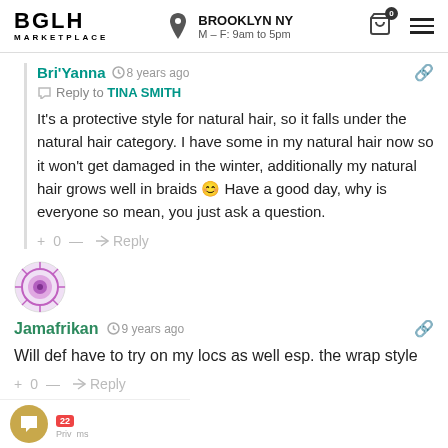BGLH MARKETPLACE | BROOKLYN NY M-F: 9am to 5pm
Bri'Yanna · 8 years ago · Reply to TINA SMITH
It's a protective style for natural hair, so it falls under the natural hair category. I have some in my natural hair now so it won't get damaged in the winter, additionally my natural hair grows well in braids 😊 Have a good day, why is everyone so mean, you just ask a question.
+ 0 — → Reply
[Figure (illustration): Decorative mandala-style avatar icon for Jamafrikan user]
Jamafrikan · 9 years ago
Will def have to try on my locs as well esp. the wrap style
→ Reply